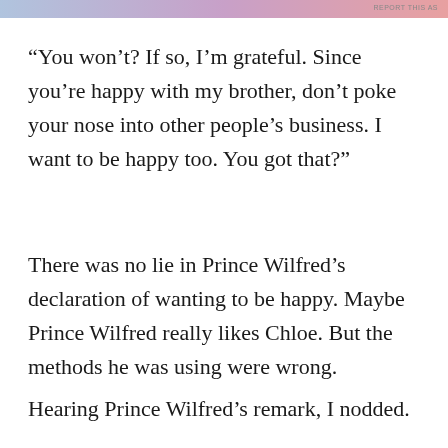REPORT THIS AS
“You won’t? If so, I’m grateful. Since you’re happy with my brother, don’t poke your nose into other people’s business. I want to be happy too. You got that?”
There was no lie in Prince Wilfred’s declaration of wanting to be happy. Maybe Prince Wilfred really likes Chloe. But the methods he was using were wrong.
Hearing Prince Wilfred’s remark, I nodded.